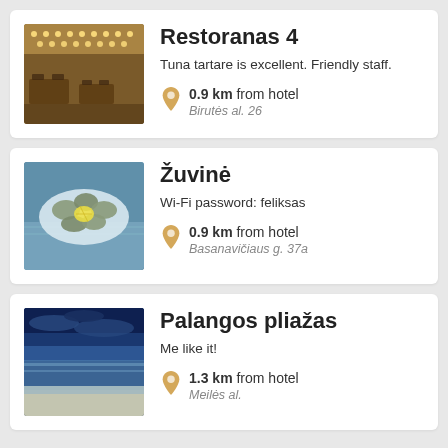Restoranas 4
Tuna tartare is excellent. Friendly staff.
0.9 km from hotel
Birutės al. 26
Žuvinė
Wi-Fi password: feliksas
0.9 km from hotel
Basanavičiaus g. 37a
Palangos pliažas
Me like it!
1.3 km from hotel
Meilės al.